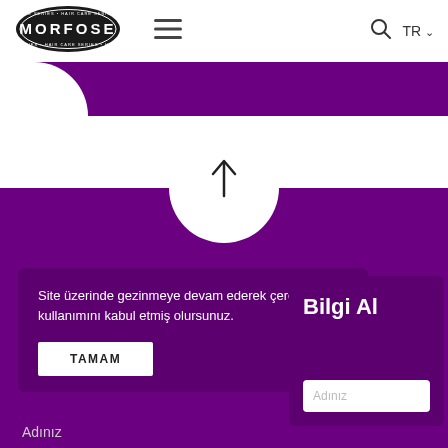[Figure (logo): Morfose Hair Care Series circular logo, black oval with white text]
[Figure (illustration): Hamburger menu icon - three horizontal lines]
[Figure (illustration): Search icon (magnifying glass)]
TR ∨
[Figure (illustration): Purple website banner strip at top with white curved cutout on left]
[Figure (illustration): Upward arrow icon in black]
[Figure (illustration): Purple barber/salon cape shape with collar cutout forming the page background]
Site üzerinde gezinmeye devam ederek çerez kullanımını kabul etmiş olursunuz.
TAMAM
Bilgi Al
Adınız